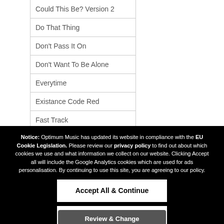Could This Be? Version 2
Do That Thing
Don't Pass It On
Don't Want To Be Alone
Everytime
Existance Code Red
Fast Track
Feelings
Notice: Optimum Music has updated its website in compliance with the EU Cookie Legislation. Please review our privacy policy to find out about which cookies we use and what information we collect on our website. Clicking Accept all will include the Google Analytics cookies which are used for ads personalisation. By continuing to use this site, you are agreeing to our policy.
Accept All & Continue
Review & Change